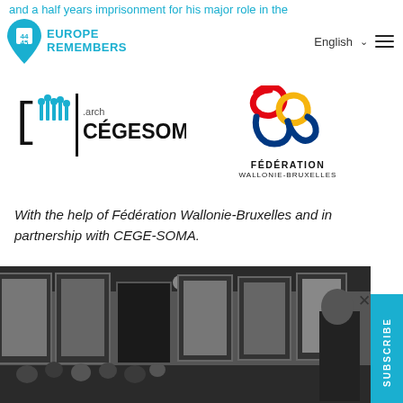and a half years imprisonment for his major role in the crimes. Grohe would remain connected to Nazi-connected until his death in 1987.
Europe Remembers | English | Menu
[Figure (logo): CEGESOMA .arch logo with bracket and figures]
[Figure (logo): Fédération Wallonie-Bruxelles logo with red, yellow, blue swirl and W3 emblem]
With the help of Fédération Wallonie-Bruxelles and in partnership with CEGE-SOMA.
[Figure (photo): Black and white photograph of a formal hall with large portrait paintings on the walls and a crowd of people]